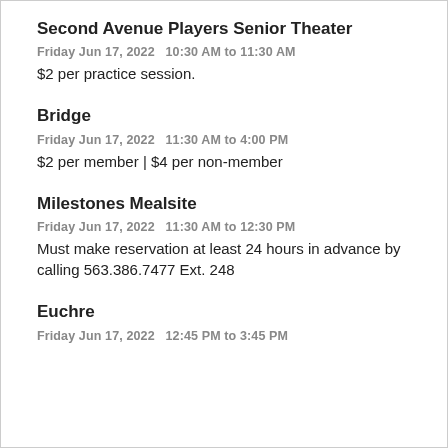Second Avenue Players Senior Theater
Friday Jun 17, 2022   10:30 AM to 11:30 AM
$2 per practice session.
Bridge
Friday Jun 17, 2022   11:30 AM to 4:00 PM
$2 per member | $4 per non-member
Milestones Mealsite
Friday Jun 17, 2022   11:30 AM to 12:30 PM
Must make reservation at least 24 hours in advance by calling 563.386.7477 Ext. 248
Euchre
Friday Jun 17, 2022   12:45 PM to 3:45 PM